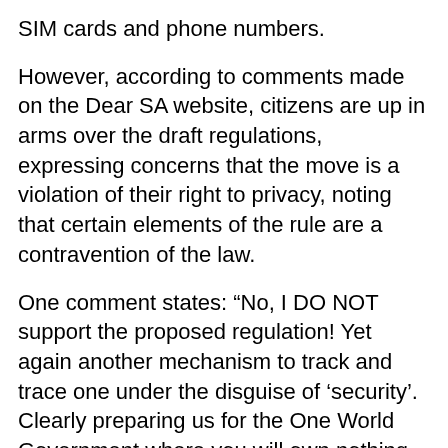SIM cards and phone numbers.
However, according to comments made on the Dear SA website, citizens are up in arms over the draft regulations, expressing concerns that the move is a violation of their right to privacy, noting that certain elements of the rule are a contravention of the law.
One comment states: “No, I DO NOT support the proposed regulation! Yet again another mechanism to track and trace one under the disguise of ‘security’. Clearly preparing us for the One World Government where you will own nothing and be happy and be forced to live off Universal Basic Income. It’s an invasion of privacy and it WILL 100% be abused by the government.”
“My main concern is the South African communist government attempting to turn South Africa into a